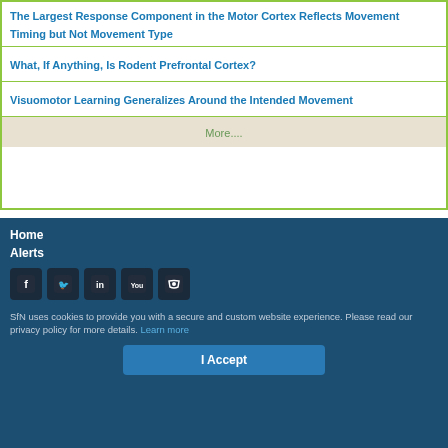The Largest Response Component in the Motor Cortex Reflects Movement Timing but Not Movement Type
What, If Anything, Is Rodent Prefrontal Cortex?
Visuomotor Learning Generalizes Around the Intended Movement
More...
Home
Alerts
SfN uses cookies to provide you with a secure and custom website experience. Please read our privacy policy for more details. Learn more
I Accept